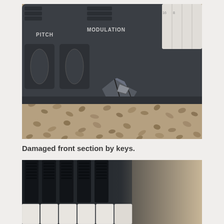[Figure (photo): Close-up photo of a damaged synthesizer keyboard. The front section near the pitch and modulation wheels is cracked and broken. The keyboard sits on a textured brown carpet. Labels PITCH and MODULATION are visible on the dark body. White keys are partially visible on the right side.]
Damaged front section by keys.
[Figure (photo): Close-up photo of a synthesizer keyboard showing dark black and white keys from below/side angle, with a light beige/cream background visible on the right edge.]